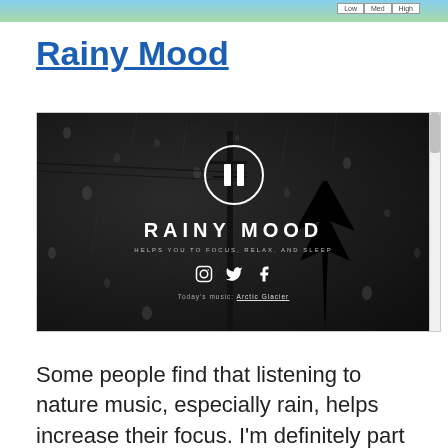[Figure (screenshot): Top strip showing a partial screenshot with Low/Med/High controls visible on right side, and a nature/sky background image]
Rainy Mood
[Figure (screenshot): Screenshot of the Rainy Mood website showing a dark rainy window background with a pause button icon, the text RAINY MOOD, tagline HELPS YOU TO FOCUS, RELAX, AND SLEEP, social media icons (Instagram, Twitter, Facebook), and text TODAY'S MUSIC: ARCTIC GLACIER]
Some people find that listening to nature music, especially rain, helps increase their focus. I'm definitely part of those people, and found that